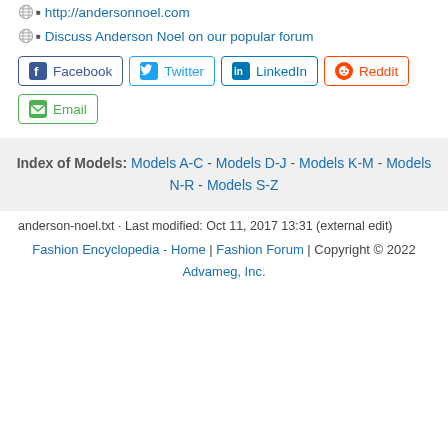http://andersonnoel.com
Discuss Anderson Noel on our popular forum
Facebook Twitter LinkedIn Reddit Email (social share buttons)
Index of Models: Models A-C - Models D-J - Models K-M - Models N-R - Models S-Z
anderson-noel.txt · Last modified: Oct 11, 2017 13:31 (external edit)
Fashion Encyclopedia - Home | Fashion Forum | Copyright © 2022 Advameg, Inc.